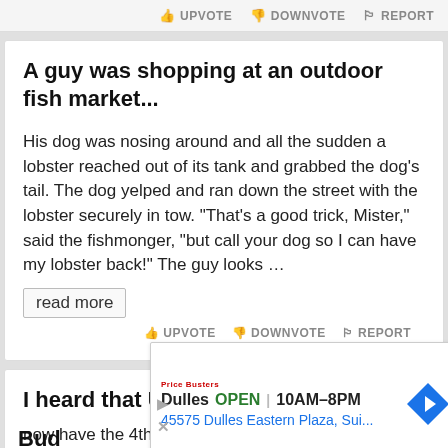UPVOTE  DOWNVOTE  REPORT
A guy was shopping at an outdoor fish market...
His dog was nosing around and all the sudden a lobster reached out of its tank and grabbed the dog's tail. The dog yelped and ran down the street with the lobster securely in tow. "That's a good trick, Mister," said the fishmonger, "but call your dog so I can have my lobster back!" The guy looks ...
read more
UPVOTE  DOWNVOTE  REPORT
I heard that Ukrainian farmers...
now have the 4th largest tank division in the world
[Figure (other): Advertisement overlay: Dulles store, OPEN 10AM-8PM, 45575 Dulles Eastern Plaza, Sui... with navigation arrow icon]